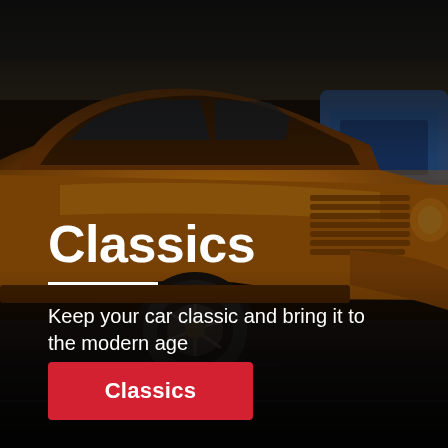[Figure (photo): A classic orange hot rod car from the 1930s-40s era parked in a lot, with a blue modern car partially visible in the background. The image has a dark overlay.]
Classics
Keep your car classic and bring it to the modern age
Classics